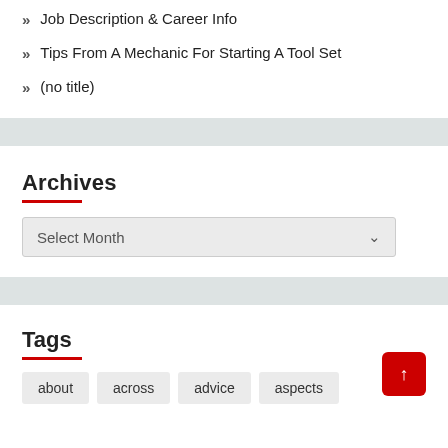Job Description & Career Info
Tips From A Mechanic For Starting A Tool Set
(no title)
Archives
Select Month
Tags
about
across
advice
aspects